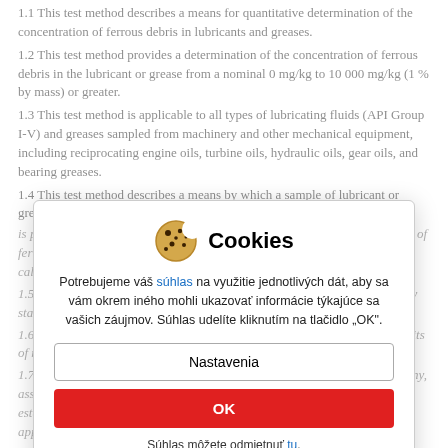1.1 This test method describes a means for quantitative determination of the concentration of ferrous debris in lubricants and greases.
1.2 This test method provides a determination of the concentration of ferrous debris in the lubricant or grease from a nominal 0 mg/kg to 10 000 mg/kg (1 % by mass) or greater.
1.3 This test method is applicable to all types of lubricating fluids (API Group I-V) and greases sampled from machinery and other mechanical equipment, including reciprocating engine oils, turbine oils, hydraulic oils, gear oils, and bearing greases.
1.4 This test method describes a means by which a sample of lubricant or grease is placed in a magnetometer apparatus, which determines the concentration of ferrous debris and provides the results to the operator without further calculation.
1.5 This test method is applicable to in-service lubricants and greases at any stage of degradation.
1.6 The numerical scope, precision, and bias are not established. Non-SI units of measurement are included in this standard.
1.7 This standard does not purport to address all of the safety concerns, if any, associated with its use. It is the responsibility of the user of this standard to establish appropriate safety and health practices and determine the applicability of regulatory limitations prior to use.
1.8 This international standard was developed in accordance with internationally recognized principles on standardization established in the Decision on Principles for the Development of International Standards, Guides and Recommendations issued by the World Trade Organization Technical
[Figure (other): Cookie consent modal dialog with cookie icon, title 'Cookies', Slovak language consent text with a link 'súhlas', two buttons labeled 'Nastavenia' and 'OK' (red), and a dismiss link 'tu'.]